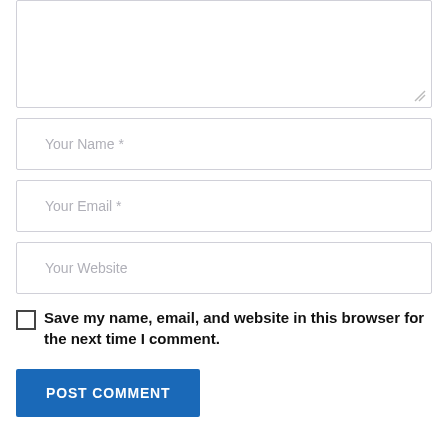[Figure (screenshot): A comment form textarea (partially visible, top cut off), followed by input fields for Your Name, Your Email, Your Website, a checkbox to save name/email/website in browser, and a POST COMMENT button.]
Your Name *
Your Email *
Your Website
Save my name, email, and website in this browser for the next time I comment.
POST COMMENT